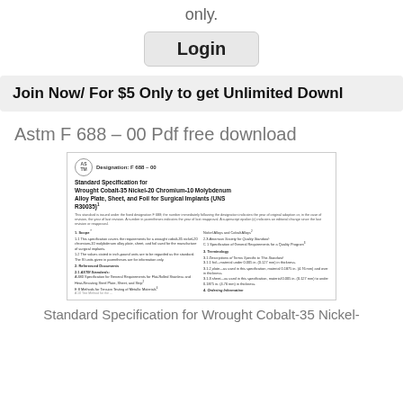only.
Login
Join Now/ For $5 Only to get Unlimited Downloads
Astm F 688 – 00 Pdf free download
[Figure (screenshot): Preview of ASTM F 688-00 standard document showing designation, title 'Standard Specification for Wrought Cobalt-35 Nickel-20 Chromium-10 Molybdenum Alloy Plate, Sheet, and Foil for Surgical Implants (UNS R30035)', scope section, referenced documents section, and terminology section.]
Standard Specification for Wrought Cobalt-35 Nickel-